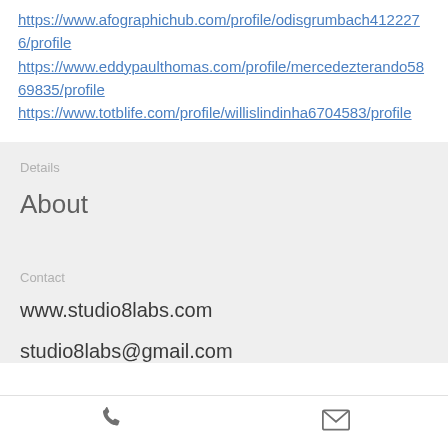https://www.afographichub.com/profile/odisgrumbach4122276/profile
https://www.eddypaulthomas.com/profile/mercedezterando5869835/profile
https://www.totblife.com/profile/willislindinha6704583/profile
Details
About
Contact
www.studio8labs.com
studio8labs@gmail.com
[Figure (other): Phone icon at bottom navigation bar]
[Figure (other): Email/envelope icon at bottom navigation bar]